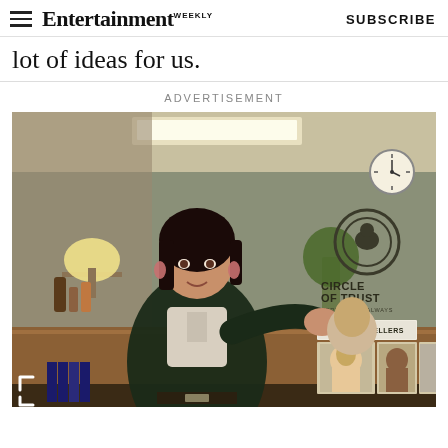Entertainment Weekly | SUBSCRIBE
lot of ideas for us.
ADVERTISEMENT
[Figure (photo): A woman in a dark fuzzy vest and light blouse stands at a reception counter in an office. Behind the counter are framed '2010 Top Sellers' photos. On the wall is a 'Circle of Trust' logo with text 'Here Now & Always' and a wall clock. Another person is partially visible behind the counter.]